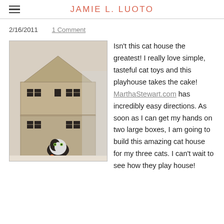JAMIE L. LUOTO
2/16/2011   1 Comment
[Figure (photo): A two-story cardboard cat playhouse shaped like a house with a peaked roof, windows, and a door opening at the bottom. A black and white cat peeks out from the entrance.]
Isn't this cat house the greatest! I really love simple, tasteful cat toys and this playhouse takes the cake! MarthaStewart.com has incredibly easy directions. As soon as I can get my hands on two large boxes, I am going to build this amazing cat house for my three cats. I can't wait to see how they play house!